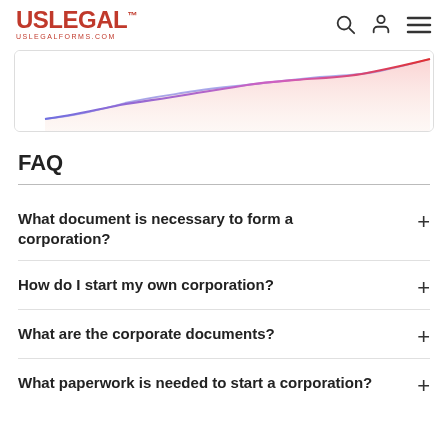USLegal™ – uslegalforms.com
[Figure (continuous-plot): Partial area/line chart with a blue-to-pink gradient rising trend line and shaded area beneath, shown cropped at bottom of header region.]
FAQ
What document is necessary to form a corporation?
How do I start my own corporation?
What are the corporate documents?
What paperwork is needed to start a corporation?